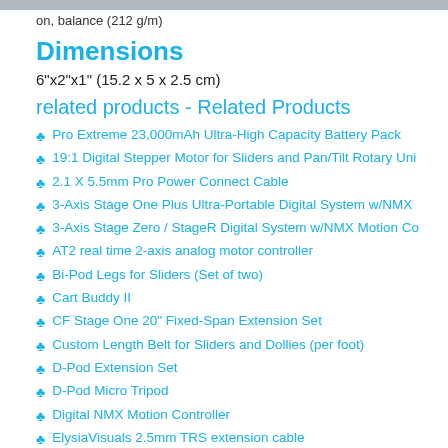on, balance (212 g/m)
Dimensions
6"x2"x1" (15.2 x 5 x 2.5 cm)
related products - Related Products
Pro Extreme 23,000mAh Ultra-High Capacity Battery Pack
19:1 Digital Stepper Motor for Sliders and Pan/Tilt Rotary Uni
2.1 X 5.5mm Pro Power Connect Cable
3-Axis Stage One Plus Ultra-Portable Digital System w/NMX
3-Axis Stage Zero / StageR Digital System w/NMX Motion Co
AT2 real time 2-axis analog motor controller
Bi-Pod Legs for Sliders (Set of two)
Cart Buddy II
CF Stage One 20" Fixed-Span Extension Set
Custom Length Belt for Sliders and Dollies (per foot)
D-Pod Extension Set
D-Pod Micro Tripod
Digital NMX Motion Controller
ElysiaVisuals 2.5mm TRS extension cable
ElysiaVisuals I/O Isolator
EZ Servo DC Mo...